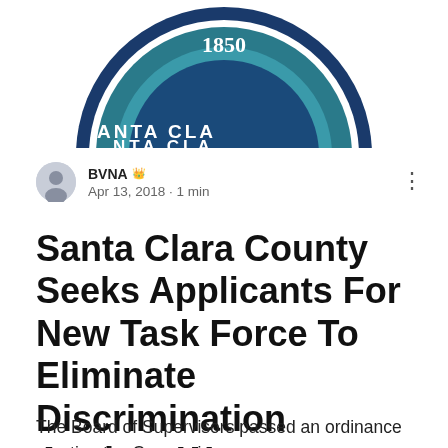[Figure (logo): Partial view of Santa Clara County seal showing '1850' text and circular blue border with text 'ANTA CLA']
BVNA 👑
Apr 13, 2018 · 1 min
Santa Clara County Seeks Applicants For New Task Force To Eliminate Discrimination Against Women
The Board of Supervisors passed an ordinance creating the Convention